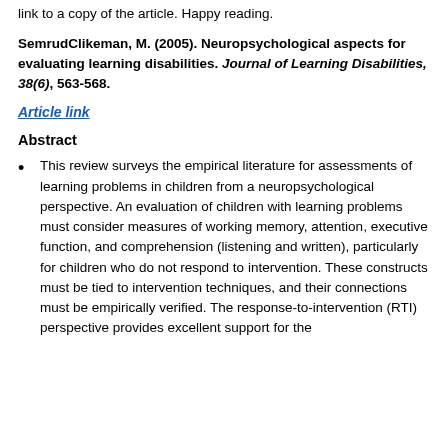link to a copy of the article. Happy reading.
SemrudClikeman, M. (2005). Neuropsychological aspects for evaluating learning disabilities. Journal of Learning Disabilities, 38(6), 563-568.
Article link
Abstract
This review surveys the empirical literature for assessments of learning problems in children from a neuropsychological perspective. An evaluation of children with learning problems must consider measures of working memory, attention, executive function, and comprehension (listening and written), particularly for children who do not respond to intervention. These constructs must be tied to intervention techniques, and their connections must be empirically verified. The response-to-intervention (RTI) perspective provides excellent support for the